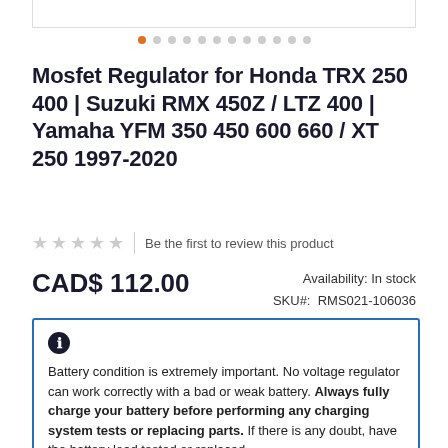[Figure (other): Product image placeholder bar at top]
Mosfet Regulator for Honda TRX 250 400 | Suzuki RMX 450Z / LTZ 400 | Yamaha YFM 350 450 600 660 / XT 250 1997-2020
Be the first to review this product
CAD$ 112.00
Availability: In stock
SKU#:  RMS021-106036
Battery condition is extremely important. No voltage regulator can work correctly with a bad or weak battery. Always fully charge your battery before performing any charging system tests or replacing parts. If there is any doubt, have the battery load tested or replaced.